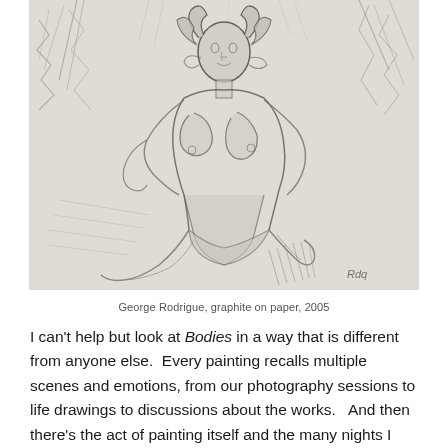[Figure (illustration): A graphite pencil sketch of a seated nude female figure with curly hair, surrounded by loose expressive background marks suggesting trees or foliage. Signed by the artist in the lower right.]
George Rodrigue, graphite on paper, 2005
I can't help but look at Bodies in a way that is different from anyone else.  Every painting recalls multiple scenes and emotions, from our photography sessions to life drawings to discussions about the works.   And then there's the act of painting itself and the many nights I awoke to find George at his easel, quiet and immersed.